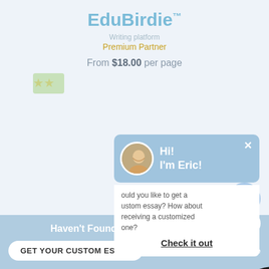EduBirdie™
Writing platform
Premium Partner
From $18.00 per page
[Figure (screenshot): Chat popup with avatar showing 'Hi! I'm Eric!' on blue background with close button, overlaying a writing platform review page]
Would you like to get a custom essay? How about receiving a customized one?
Check it out
Stud
Recom
From $
e_. .___
Haven't Found The Essay You Want?
GET YOUR CUSTOM ESSAY
For Only $13.90/page